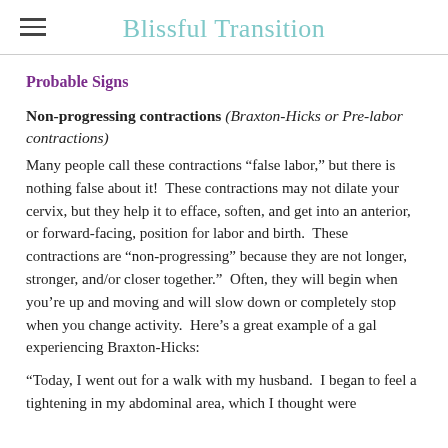Blissful Transition
Probable Signs
Non-progressing contractions (Braxton-Hicks or Pre-labor contractions)
Many people call these contractions “false labor,” but there is nothing false about it!  These contractions may not dilate your cervix, but they help it to efface, soften, and get into an anterior, or forward-facing, position for labor and birth.  These contractions are “non-progressing” because they are not longer, stronger, and/or closer together.”  Often, they will begin when you’re up and moving and will slow down or completely stop when you change activity.  Here’s a great example of a gal experiencing Braxton-Hicks:
“Today, I went out for a walk with my husband.  I began to feel a tightening in my abdominal area, which I thought were